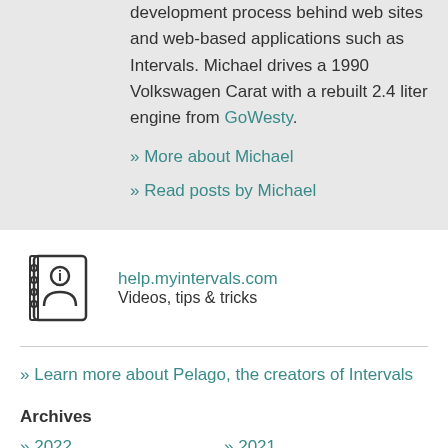development process behind web sites and web-based applications such as Intervals. Michael drives a 1990 Volkswagen Carat with a rebuilt 2.4 liter engine from GoWesty.
» More about Michael
» Read posts by Michael
[Figure (illustration): Address book / contact icon — a small notebook with a person silhouette and the letter i on the cover, with spiral binding on the left.]
help.myintervals.com
Videos, tips & tricks
» Learn more about Pelago, the creators of Intervals
Archives
» 2022
» 2021
» 2020
» 2019